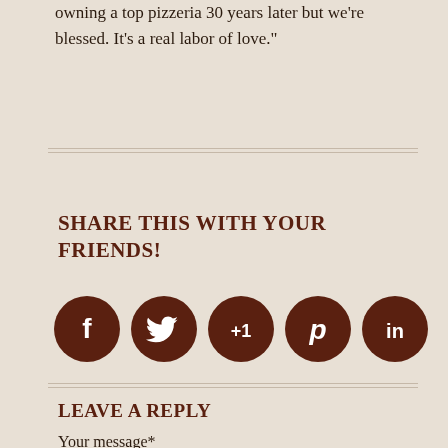owning a top pizzeria 30 years later but we're blessed. It's a real labor of love."
SHARE THIS WITH YOUR FRIENDS!
[Figure (infographic): Five circular dark brown social media share buttons: Facebook (f), Twitter (bird icon), Google+1 (+1), Pinterest (p), LinkedIn (in)]
LEAVE A REPLY
Your message*